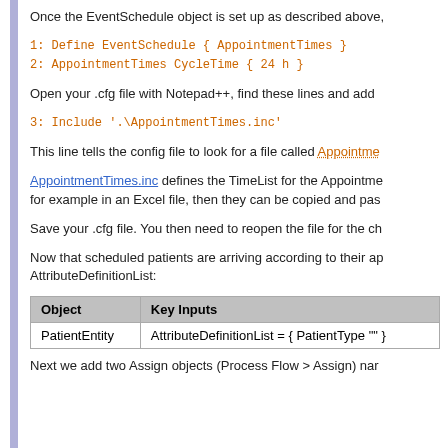Once the EventSchedule object is set up as described above,
1: Define EventSchedule { AppointmentTimes }
2: AppointmentTimes CycleTime { 24 h }
Open your .cfg file with Notepad++, find these lines and add
3: Include '.\AppointmentTimes.inc'
This line tells the config file to look for a file called AppointmentTimes.inc defines the TimeList for the Appointme... for example in an Excel file, then they can be copied and pas...
Save your .cfg file. You then need to reopen the file for the ch
Now that scheduled patients are arriving according to their ap... AttributeDefinitionList:
| Object | Key Inputs |
| --- | --- |
| PatientEntity | AttributeDefinitionList = { PatientType "" } |
Next we add two Assign objects (Process Flow > Assign) nar